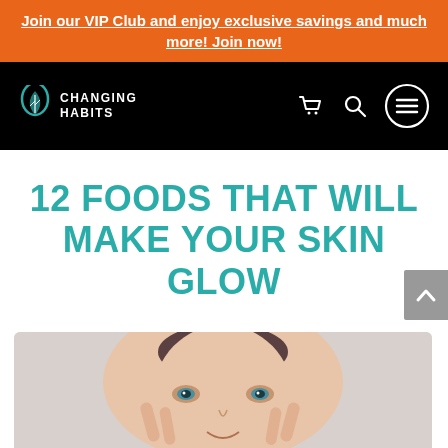Join our VIP Club and enjoy exclusive savings and much more! Join now!
[Figure (logo): Changing Habits logo with teal leaf drop icon and white text on black navigation bar]
12 FOODS THAT WILL MAKE YOUR SKIN GLOW
[Figure (photo): Woman touching her face near her eyes, smiling, with light background]